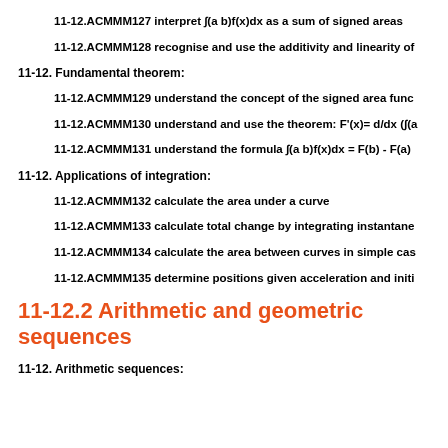11-12.ACMMM127 interpret ∫(a b)f(x)dx as a sum of signed areas
11-12.ACMMM128 recognise and use the additivity and linearity of
11-12. Fundamental theorem:
11-12.ACMMM129 understand the concept of the signed area func
11-12.ACMMM130 understand and use the theorem: F'(x)= d/dx (∫(a
11-12.ACMMM131 understand the formula ∫(a b)f(x)dx = F(b) - F(a)
11-12. Applications of integration:
11-12.ACMMM132 calculate the area under a curve
11-12.ACMMM133 calculate total change by integrating instantane
11-12.ACMMM134 calculate the area between curves in simple cas
11-12.ACMMM135 determine positions given acceleration and initi
11-12.2 Arithmetic and geometric sequences
11-12. Arithmetic sequences: